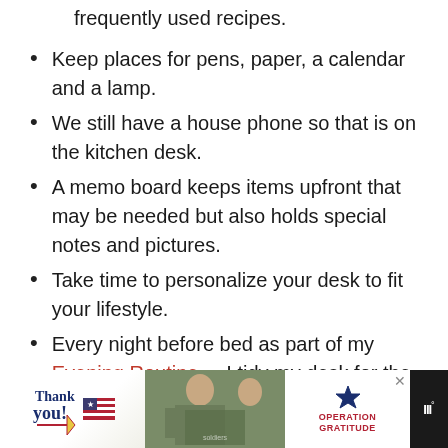frequently used recipes.
Keep places for pens, paper, a calendar and a lamp.
We still have a house phone so that is on the kitchen desk.
A memo board keeps items upfront that may be needed but also holds special notes and pictures.
Take time to personalize your desk to fit your lifestyle.
Every night before bed as part of my Evening Routine – I tidy my desk for the next day.
Be ruthless in tossing papers you don't need
[Figure (photo): Advertisement banner at bottom of page: 'Thank you!' text with American flag imagery, soldier photo, and Operation Gratitude logo]